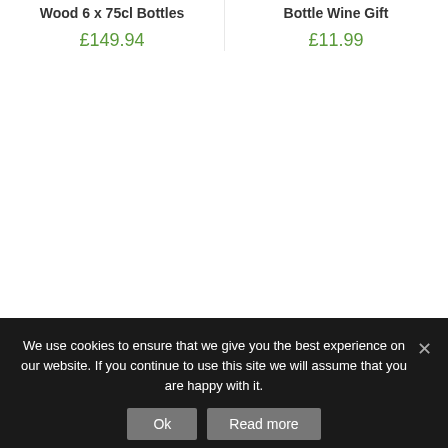Wood 6 x 75cl Bottles
£149.94
Bottle Wine Gift
£11.99
We use cookies to ensure that we give you the best experience on our website. If you continue to use this site we will assume that you are happy with it.